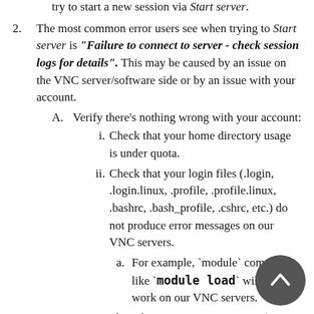try to start a new session via Start server.
The most common error users see when trying to Start server is "Failure to connect to server - check session logs for details". This may be caused by an issue on the VNC server/software side or by an issue with your account.
A. Verify there's nothing wrong with your account:
  i. Check that your home directory usage is under quota.
  ii. Check that your login files (.login, .login.linux, .profile, .profile.linux, .bashrc, .bash_profile, .cshrc, etc.) do not produce error messages on our VNC servers.
    a. For example, `module` commands like `module load` will not work on our VNC servers.
    b. ssh'ing to our VNC servers (czvnc,